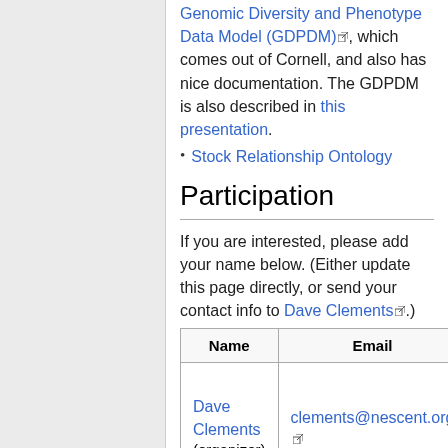Genomic Diversity and Phenotype Data Model (GDPDM), which comes out of Cornell, and also has nice documentation. The GDPDM is also described in this presentation.
Stock Relationship Ontology
Participation
If you are interested, please add your name below. (Either update this page directly, or send your contact info to Dave Clements .)
| Name | Email | A |
| --- | --- | --- |
| Dave Clements (organizer) | clements@nescent.org | NE... GN... |